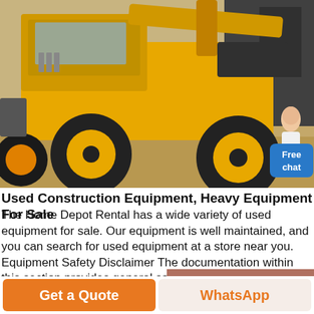[Figure (photo): Yellow wheel loader / compact front-end loader photographed outdoors on a dirt lot, showing the machine from the side with large black tires with yellow rims. Multiple similar machines are partially visible in the background. A chat agent avatar and 'Free chat' button overlay the lower-right corner of the photo.]
Used Construction Equipment, Heavy Equipment For Sale
The Home Depot Rental has a wide variety of used equipment for sale. Our equipment is well maintained, and you can search for used equipment at a store near you. Equipment Safety Disclaimer The documentation within this section provides general safety.
INQUIRY
Get a Quote
WhatsApp